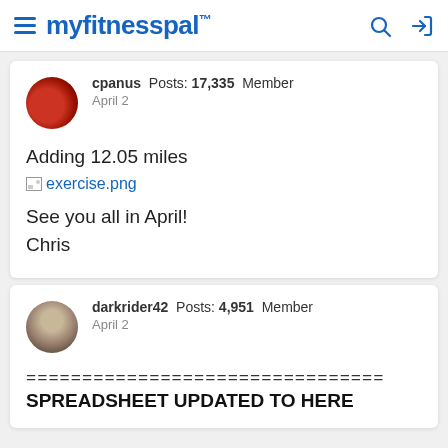myfitnesspal
cpanus  Posts: 17,335  Member
April 2

Adding 12.05 miles
exercise.png

See you all in April!
Chris
darkrider42  Posts: 4,951  Member
April 2

================================
SPREADSHEET UPDATED TO HERE